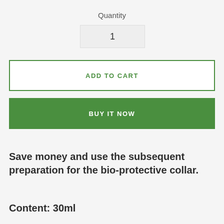Quantity
1
ADD TO CART
BUY IT NOW
Save money and use the subsequent preparation for the bio-protective collar.
Content: 30ml